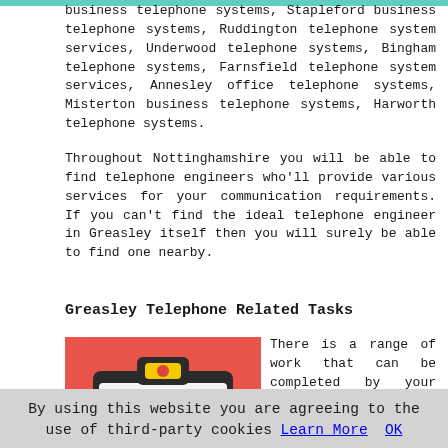business telephone systems, Stapleford business telephone systems, Ruddington telephone system services, Underwood telephone systems, Bingham telephone systems, Farnsfield telephone system services, Annesley office telephone systems, Misterton business telephone systems, Harworth telephone systems.
Throughout Nottinghamshire you will be able to find telephone engineers who'll provide various services for your communication requirements. If you can't find the ideal telephone engineer in Greasley itself then you will surely be able to find one nearby.
Greasley Telephone Related Tasks
[Figure (illustration): Clipboard illustration with checklist items and green checkmarks on a red/coral background]
There is a range of work that can be completed by your local Greasley telephone engineer including telephone system repairs, SIP trunking, new phone systems, voicemail & auto-attendant services, PBX solutions, telephone system installations, interactive
By using this website you are agreeing to the use of third-party cookies Learn More  OK